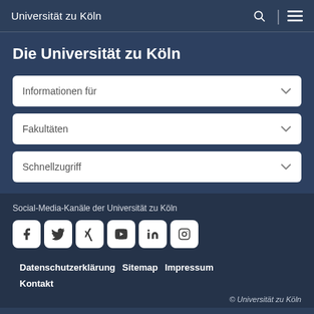Universität zu Köln
Die Universität zu Köln
Informationen für
Fakultäten
Schnellzugriff
Social-Media-Kanäle der Universität zu Köln
[Figure (other): Row of social media icons: Facebook, Twitter, Xing, YouTube, LinkedIn, Instagram]
Datenschutzerklärung   Sitemap   Impressum
Kontakt
© Universität zu Köln